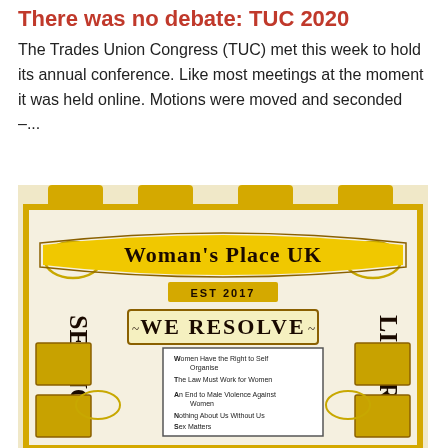There was no debate: TUC 2020
The Trades Union Congress (TUC) met this week to hold its annual conference. Like most meetings at the moment it was held online. Motions were moved and seconded –...
[Figure (photo): Photo of a Woman's Place UK trade union style banner in gold and white, reading 'Woman's Place UK EST 2017', 'WE RESOLVE', 'SEX NOT', 'LIBERA', with smaller text including 'Women Have the Right to Self Organise', 'The Law Must Work for Women', 'An End to Male Violence Against Women', 'Nothing About Us Without Us', 'Sex Matters']